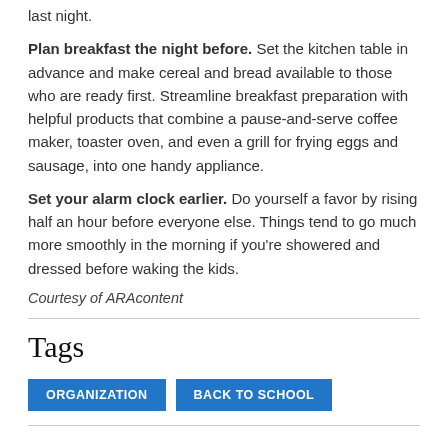last night.
Plan breakfast the night before. Set the kitchen table in advance and make cereal and bread available to those who are ready first. Streamline breakfast preparation with helpful products that combine a pause-and-serve coffee maker, toaster oven, and even a grill for frying eggs and sausage, into one handy appliance.
Set your alarm clock earlier. Do yourself a favor by rising half an hour before everyone else. Things tend to go much more smoothly in the morning if you're showered and dressed before waking the kids.
Courtesy of ARAcontent
Tags
ORGANIZATION   BACK TO SCHOOL